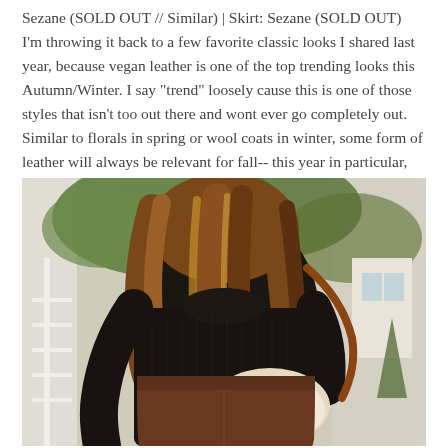Sezane (SOLD OUT // Similar) | Skirt: Sezane (SOLD OUT) I'm throwing it back to a few favorite classic looks I shared last year, because vegan leather is one of the top trending looks this Autumn/Winter. I say "trend" loosely cause this is one of those styles that isn't too out there and wont ever go completely out. Similar to florals in spring or wool coats in winter, some form of leather will always be relevant for fall-- this year in particular, "Vegan" leather is the must-have....
[Figure (photo): A woman wearing a black turtleneck sweater and a brown/burgundy vegan leather skirt, carrying a brown leather crossbody bag with a floral scarf. She has long wavy auburn/blonde hair. The background shows green foliage and white architectural elements.]